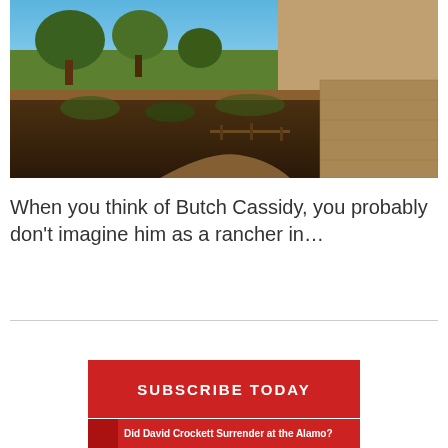[Figure (photo): Outdoor landscape photo showing rocky terrain with desert vegetation, dry brush in the foreground, green trees and blue sky in the background left, and a stone or concrete wall structure on the right.]
When you think of Butch Cassidy, you probably don't imagine him as a rancher in…
[Figure (infographic): Red SUBSCRIBE TODAY button]
Did David Crockett Surrender at the Alamo?